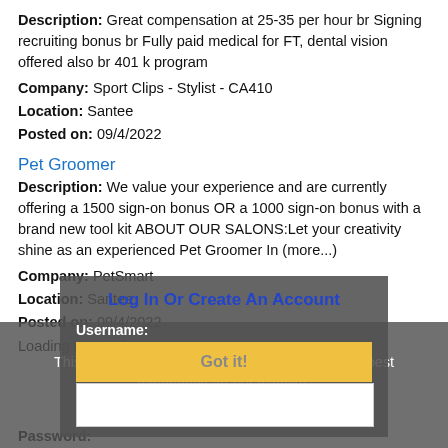Description: Great compensation at 25-35 per hour br Signing recruiting bonus br Fully paid medical for FT, dental vision offered also br 401 k program
Company: Sport Clips - Stylist - CA410
Location: Santee
Posted on: 09/4/2022
Pet Groomer
Description: We value your experience and are currently offering a 1500 sign-on bonus OR a 1000 sign-on bonus with a brand new tool kit ABOUT OUR SALONS:Let your creativity shine as an experienced Pet Groomer In (more...)
Company: PetSmart
Location: Santee
Posted on: 09/4/2022
Loading more jobs...
This website uses cookies to ensure you get the best experience on our website.
Learn more
Log In Or Create An Account
Username:
Got it!
Password: